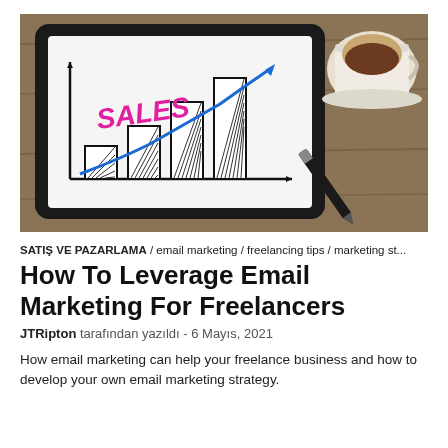[Figure (photo): A tablet displaying a hand-drawn bar chart with the word SALES in pink/magenta and a blue upward-trending arrow, alongside a coffee cup and a pen on a wooden surface.]
SATIŞ VE PAZARLAMA / email marketing / freelancing tips / marketing st...
How To Leverage Email Marketing For Freelancers
JTRipton tarafından yazıldı - 6 Mayıs, 2021
How email marketing can help your freelance business and how to develop your own email marketing strategy.